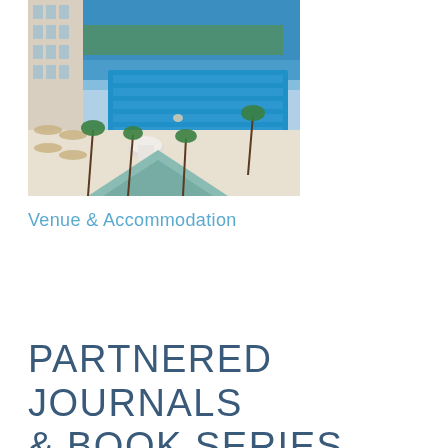[Figure (photo): Aerial view of a luxury hotel resort with a large outdoor pool, palm trees, beach umbrellas, and the sea in the background]
Venue & Accommodation
PARTNERED JOURNALS & BOOK SERIES